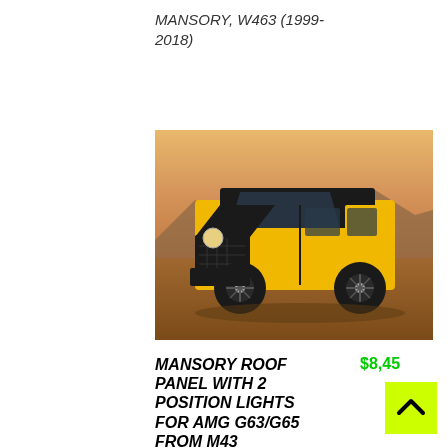MANSORY, W463 (1999-2018)
Compare
[Figure (photo): Yellow and black Mansory modified Mercedes-Benz G-Class SUV (AMG G63/G65) parked on a flat desert surface with mountains and warm sunset sky in the background.]
MANSORY ROOF PANEL WITH 2 POSITION LIGHTS FOR AMG G63/G65 FROM M43
$8,45